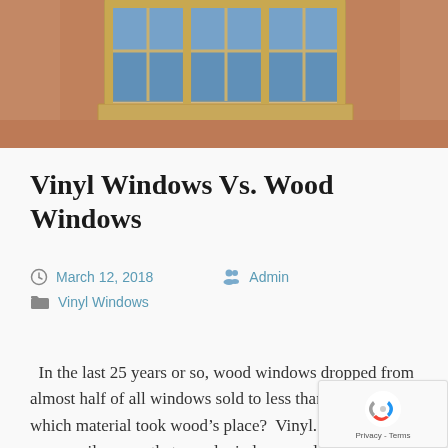[Figure (photo): Photo of a brick building exterior with blue-framed windows, partially cropped showing the top portion of the image]
Vinyl Windows Vs. Wood Windows
March 12, 2018   Admin   Vinyl Windows
In the last 25 years or so, wood windows dropped from almost half of all windows sold to less than 20%.  Guess which material took wood's place?  Vinyl.  That doesn't necessarily mean that wood windows are lower quality than vinyl or more difficult to deal with.  Both wood and vi... have strong points.  Wood